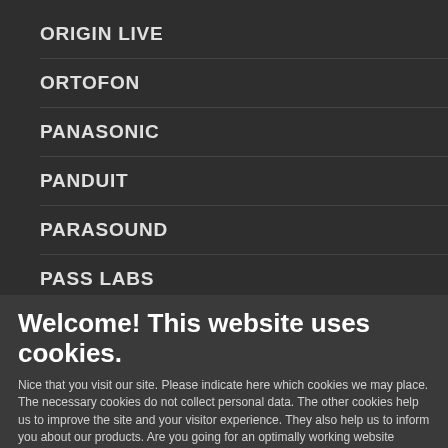ORIGIN LIVE
ORTOFON
PANASONIC
PANDUIT
PARASOUND
PASS LABS
PHASEMATION
Welcome! This website uses cookies.
Nice that you visit our site. Please indicate here which cookies we may place. The necessary cookies do not collect personal data. The other cookies help us to improve the site and your visitor experience. They also help us to inform you about our products. Are you going for an optimally working website including all the benefits? Then tick all the boxes!
Necessary  Preferences  Statistics  Marketing  Save